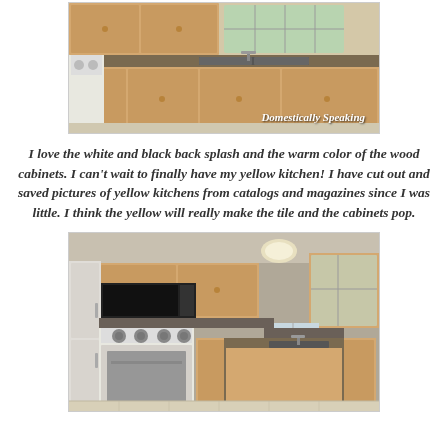[Figure (photo): Kitchen photo showing wood cabinets, dark countertop, double sink near a window, and a white stove on the left. Watermark reads 'Domestically Speaking'.]
I love the white and black back splash and the warm color of the wood cabinets. I can't wait to finally have my yellow kitchen! I have cut out and saved pictures of yellow kitchens from catalogs and magazines since I was little. I think the yellow will really make the tile and the cabinets pop.
[Figure (photo): Kitchen photo showing light wood cabinets, dark countertops, white electric stove, black microwave, and a kitchen island with sink.]